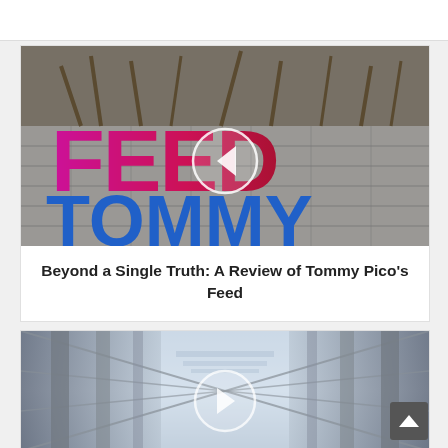[Figure (photo): Book cover of 'Feed' by Tommy Pico showing large stylized letters FEED in pink/magenta and TOMMY in blue, with insects or organic material visible above the letters on a textured surface. A navigation arrow circle overlay is centered on the image.]
Beyond a Single Truth: A Review of Tommy Pico's Feed
[Figure (photo): Abstract corridor or tunnel image with repeating rectangular frames receding into the distance, blue-grey gradient tones. A navigation arrow circle overlay is centered on the image.]